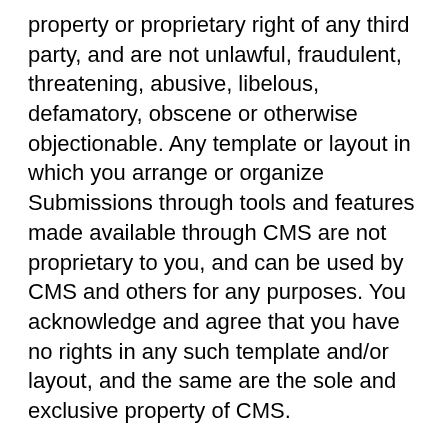property or proprietary right of any third party, and are not unlawful, fraudulent, threatening, abusive, libelous, defamatory, obscene or otherwise objectionable. Any template or layout in which you arrange or organize Submissions through tools and features made available through CMS are not proprietary to you, and can be used by CMS and others for any purposes. You acknowledge and agree that you have no rights in any such template and/or layout, and the same are the sole and exclusive property of CMS.
No Submissions will be subject to any obligation of confidentiality, attribution or otherwise on our part, and we will not be liable for any use or disclosure of any Submissions. You acknowledge and agree that we may (but are not obligated to) do any or all of the following, at our discretion: (a) monitor and/or filter any Submissions; (b) alter, remove, or refuse to send, transmit or otherwise use any